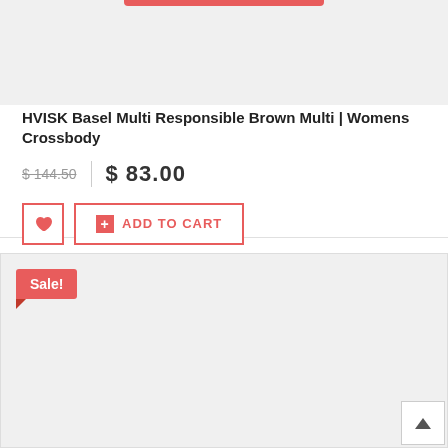[Figure (photo): Product image area for HVISK Basel bag, light gray background with partial red bar at top]
HVISK Basel Multi Responsible Brown Multi | Womens Crossbody
$ 144.50  $ 83.00
ADD TO CART
[Figure (photo): Second product card area with Sale! badge in red, light gray background]
Sale!